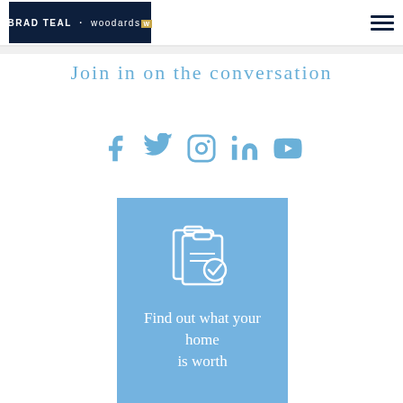[Figure (logo): Brad Teal Woodards logo on dark navy background with hamburger menu icon on the right]
Join in on the conversation
[Figure (infographic): Social media icons row: Facebook, Twitter, Instagram, LinkedIn, YouTube — all in light blue]
[Figure (infographic): Light blue card with clipboard and checkmark icon, with text: Find out what your home is worth]